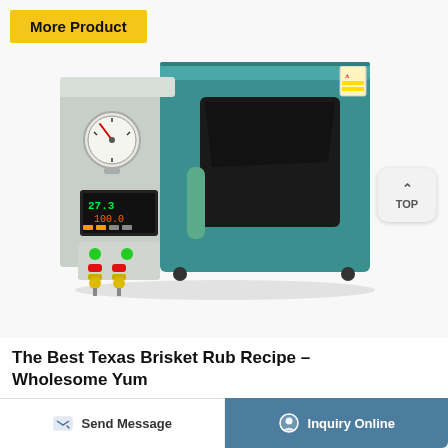More Product
[Figure (photo): Industrial vacuum drying oven with teal/blue exterior, analog pressure gauge, digital temperature controller showing 27.3°C, green and red indicator buttons, yellow valve fittings at bottom, and a large viewing window on the front door with a green handle. Safety warning label in top right corner.]
TOP
The Best Texas Brisket Rub Recipe – Wholesome Yum
Send Message
Inquiry Online